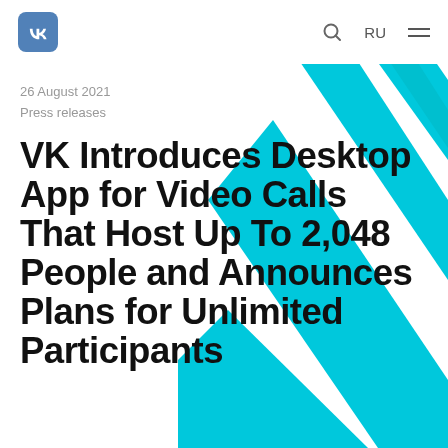VK | RU menu
[Figure (illustration): Decorative cyan/turquoise diagonal stripe pattern (VK brand graphic) on the right half of the page background]
26 August 2021
Press releases
VK Introduces Desktop App for Video Calls That Host Up To 2,048 People and Announces Plans for Unlimited Participants